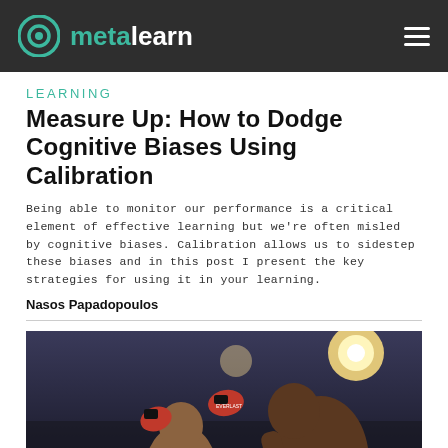metalearncn
Learning
Measure Up: How to Dodge Cognitive Biases Using Calibration
Being able to monitor our performance is a critical element of effective learning but we're often misled by cognitive biases. Calibration allows us to sidestep these biases and in this post I present the key strategies for using it in your learning.
Nasos Papadopoulos
[Figure (photo): Two boxers in a boxing match, one throwing a punch at the other under arena lights]